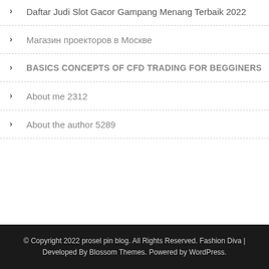Daftar Judi Slot Gacor Gampang Menang Terbaik 2022
Магазин проекторов в Москве
BASICS CONCEPTS OF CFD TRADING FOR BEGGINERS
About me 2312
About the author 5289
© Copyright 2022 prosel pin blog. All Rights Reserved. Fashion Diva | Developed By Blossom Themes. Powered by WordPress.